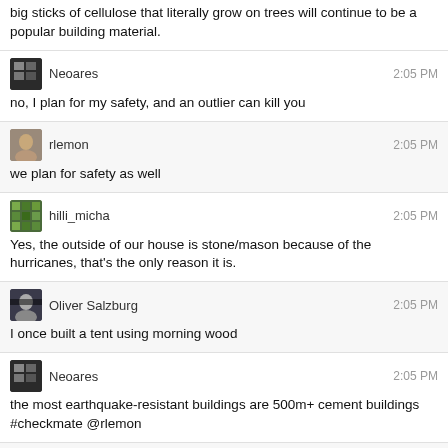big sticks of cellulose that literally grow on trees will continue to be a popular building material.
Neoares 2:05 PM
no, I plan for my safety, and an outlier can kill you
rlemon 2:05 PM
we plan for safety as well
hilli_micha 2:05 PM
Yes, the outside of our house is stone/mason because of the hurricanes, that's the only reason it is.
Oliver Salzburg 2:05 PM
I once built a tent using morning wood
Neoares 2:05 PM
the most earthquake-resistant buildings are 500m+ cement buildings
#checkmate @rlemon
rlemon 2:06 PM
all of north america is so wrong and fragile. amazing how they survive in their log cabins and wicker high rises.
Neoares 2:06 PM
THAT ^
rlemon 2:06 PM